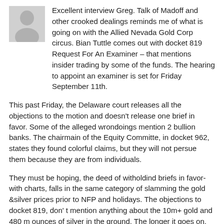[Figure (illustration): Generic grey silhouette avatar of a person, used as a profile picture placeholder]
Excellent interview Greg. Talk of Madoff and other crooked dealings reminds me of what is going on with the Allied Nevada Gold Corp circus. Bian Tuttle comes out with docket 819 Request For An Examiner – that mentions insider trading by some of the funds. The hearing to appoint an examiner is set for Friday September 11th.
This past Friday, the Delaware court releases all the objections to the motion and doesn't release one brief in favor. Some of the alleged wrondoings mention 2 bullion banks. The chairmain of the Equity Committe, in docket 962, states they found colorful claims, but they will not persue them because they are from individuals.
They must be hoping, the deed of witholdind briefs in favor- with charts, falls in the same category of slamming the gold &silver prices prior to NFP and holidays. The objections to docket 819, don' t mention anything about the 10m+ gold and 480 m ounces of silver in the ground. The longer it goes on, the longer it smells like an inside job.
They did manage to write down $1.1 billion in value in the last